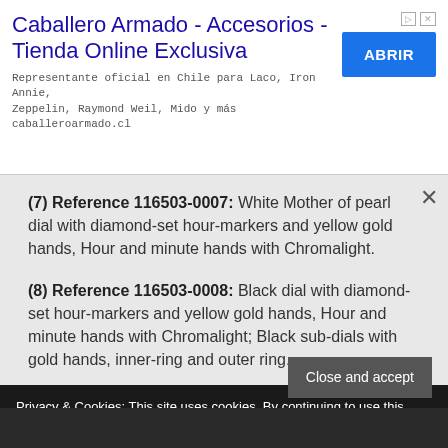[Figure (screenshot): Advertisement banner for Caballero Armado watch store with ABRIR button]
(7) Reference 116503-0007: White Mother of pearl dial with diamond-set hour-markers and yellow gold hands, Hour and minute hands with Chromalight.
(8) Reference 116503-0008: Black dial with diamond-set hour-markers and yellow gold hands, Hour and minute hands with Chromalight; Black sub-dials with gold hands, inner-ring and outer ring.
Privacy & Cookies: This site uses cookies. By continuing to use this website, you agree to their use.
To find out more, including how to control cookies, see here: Cookie Policy
Close and accept